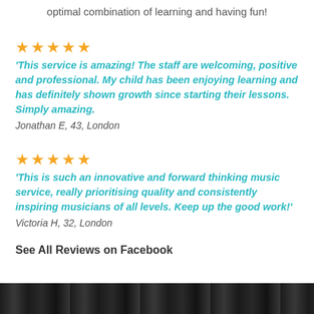optimal combination of learning and having fun!
★★★★★
'This service is amazing! The staff are welcoming, positive and professional. My child has been enjoying learning and has definitely shown growth since starting their lessons. Simply amazing.
Jonathan E, 43, London
★★★★★
'This is such an innovative and forward thinking music service, really prioritising quality and consistently inspiring musicians of all levels. Keep up the good work!'
Victoria H, 32, London
See All Reviews on Facebook
[Figure (photo): Dark image at the bottom of the page, appears to be a photograph with dark tones]